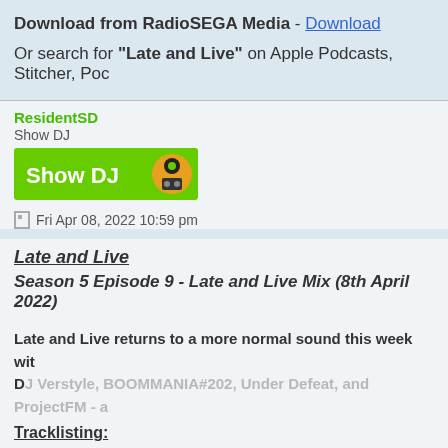Download from RadioSEGA Media - Download
Or search for "Late and Live" on Apple Podcasts, Stitcher, Poc...
ResidentSD
Show DJ
[Figure (illustration): Show DJ badge with green background and DJ character icon]
Fri Apr 08, 2022 10:59 pm
Late and Live
Season 5 Episode 9 - Late and Live Mix (8th April 2022)
Late and Live returns to a more normal sound this week with... DJ Verstyle, BOOMMANIA#202, Under Defeat, and ProjectFM - a...
This website uses cookies to ensure you get the best experience on our website. Learn more
Got it!
Tracklisting:
- Deejay Verstyle - CPS2 Original - Theme of Blaze Fielding (req...
- LEGO Dimensions - Sonic the Hedgehog Hub: Ice Cap Zone (...
- ASTRO CITY mini -Celebration Album- - Scramble Spirits -Mi...